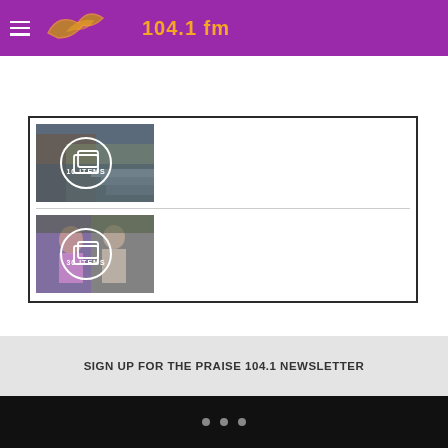104.1 fm
[Figure (photo): Gallery thumbnail showing outdoor scene with circle overlay icon and '10 ITEMS' text]
[Figure (photo): Gallery thumbnail showing two people with circle overlay icon and '30 ITEMS' text]
SIGN UP FOR THE PRAISE 104.1 NEWSLETTER